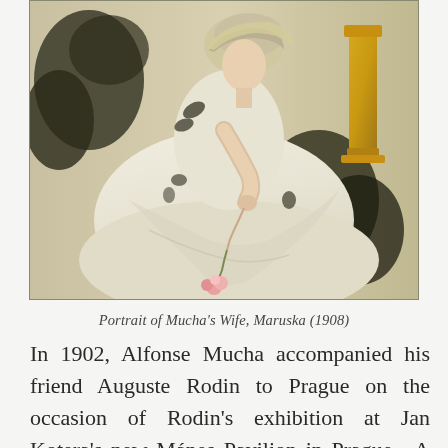[Figure (illustration): A classical oil painting depicting a woman in a white dress, seated and holding pink flowers (carnations), surrounded by dark foliage. A golden decorative stand is visible on the right. The painting is 'Portrait of Mucha's Wife, Maruska (1908)'.]
Portrait of Mucha's Wife, Maruska (1908)
In 1902, Alfonse Mucha accompanied his friend Auguste Rodin to Prague on the occasion of Rodin's exhibition at Jan Kotera's new Mánes Pavilion in Prague. A gala night was held at the National Theatre of Prague to welcome the renowned sculptor and it was here that Alphonse Mucha first met Marie Chytilová, an